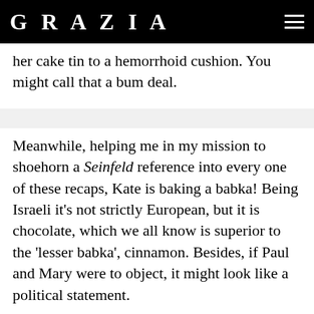GRAZIA
her cake tin to a hemorrhoid cushion. You might call that a bum deal.
Meanwhile, helping me in my mission to shoehorn a Seinfeld reference into every one of these recaps, Kate is baking a babka! Being Israeli it's not strictly European, but it is chocolate, which we all know is superior to the 'lesser babka', cinnamon. Besides, if Paul and Mary were to object, it might look like a political statement.
After the familiar dalliance with the proving drawers (in, out, shake it all about), the cakes are